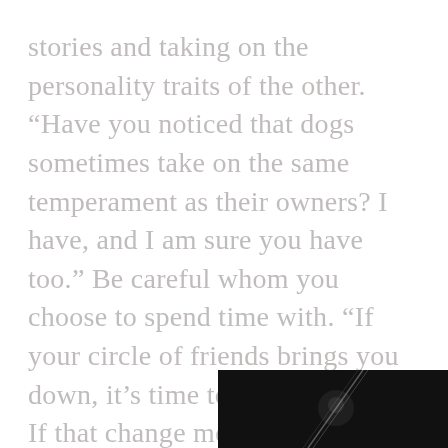multiplied into the same person, telling the same stories and taking on the personality traits of the other. “Have you noticed that dogs sometimes take on the same temperament as their owners? I have, and I am sure you have too.” Be careful whom you choose to spend time with. “If your circle of friends brings you down, it’s time to make a change. If that change means changing your circle of friends, then change your circle of friends. Spend time with those who encourage and inspire you, and you will immediately notice the positive upswing in your daily life. Keep people close who are willing to tell you the naked truth and push you toward your goals. These people are your BOOM team of supporters.” Part
[Figure (photo): Dark/black image with a diagonal light streak or beam, partial image visible at bottom right of page]